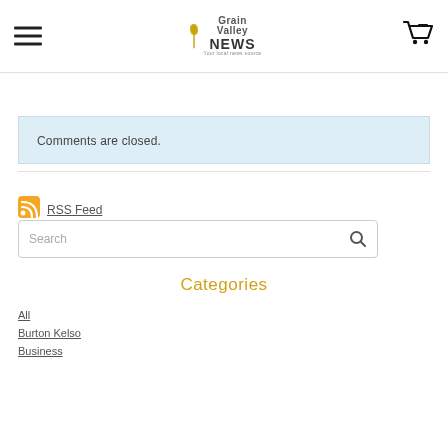Grain Valley NEWS — navigation header with hamburger menu and cart icon
Comments are closed.
[Figure (logo): RSS feed icon — orange square with white wifi-like symbol]
RSS Feed
Search
Categories
All
Burton Kelso
Business